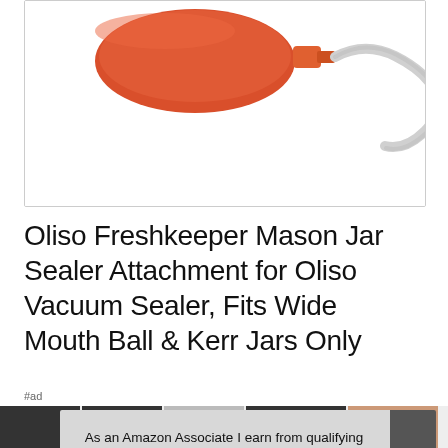[Figure (photo): Product photo of an orange vacuum sealer attachment with clear tubing, shown against a white background inside a bordered box.]
Oliso Freshkeeper Mason Jar Sealer Attachment for Oliso Vacuum Sealer, Fits Wide Mouth Ball & Kerr Jars Only
#ad
As an Amazon Associate I earn from qualifying purchases. This website uses the only necessary cookies to ensure you get the best experience on our website. More information
[Figure (photo): Row of small product thumbnail images at the bottom of the page.]